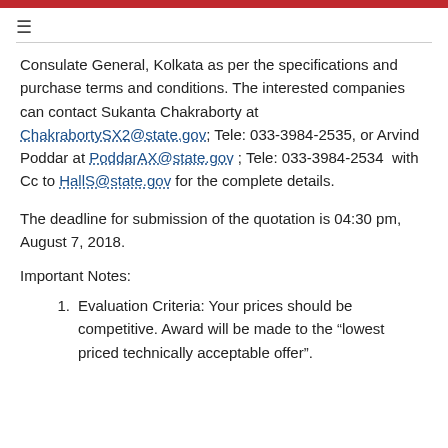Consulate General, Kolkata as per the specifications and purchase terms and conditions. The interested companies can contact Sukanta Chakraborty at ChakrabortySX2@state.gov; Tele: 033-3984-2535, or Arvind Poddar at PoddarAX@state.gov ; Tele: 033-3984-2534  with Cc to HallS@state.gov for the complete details.
The deadline for submission of the quotation is 04:30 pm, August 7, 2018.
Important Notes:
Evaluation Criteria: Your prices should be competitive. Award will be made to the “lowest priced technically acceptable offer”.